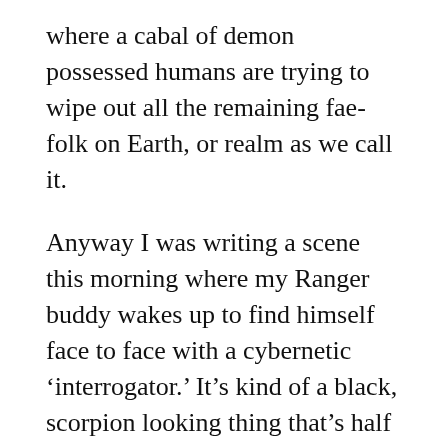where a cabal of demon possessed humans are trying to wipe out all the remaining fae-folk on Earth, or realm as we call it.
Anyway I was writing a scene this morning where my Ranger buddy wakes up to find himself face to face with a cybernetic ‘interrogator.’ It’s kind of a black, scorpion looking thing that’s half underworld beastie and half robot that is used to infiltrate the nervous system of a prisoner and make them docile for simpler information retrieval. This thing is strong, it’s ugly, and it is not the kind of thing you want to meet immediately upon being